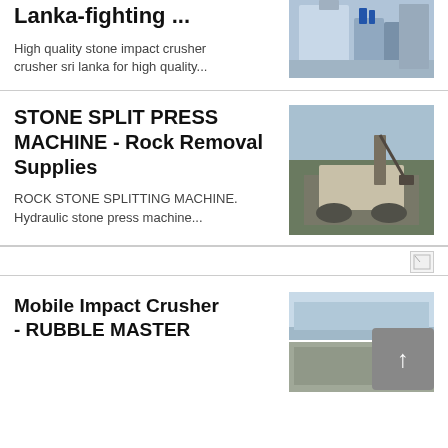Lanka-fighting ...
High quality stone impact crusher crusher sri lanka for high quality...
[Figure (photo): Industrial silo with blue pipes and equipment]
STONE SPLIT PRESS MACHINE - Rock Removal Supplies
ROCK STONE SPLITTING MACHINE. Hydraulic stone press machine...
[Figure (photo): Large excavator and rock crushing machinery at outdoor site]
[Figure (other): Broken image placeholder icon]
Mobile Impact Crusher - RUBBLE MASTER
[Figure (photo): Two photos of mobile crusher equipment]